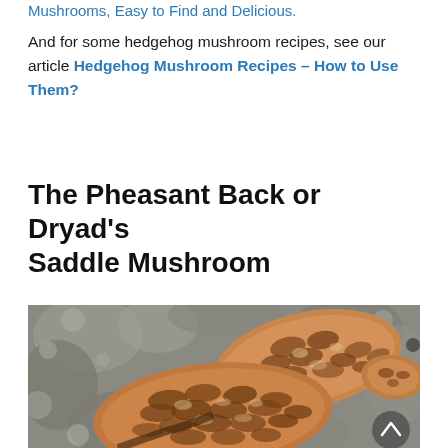Mushrooms, Easy to Find and Delicious.
And for some hedgehog mushroom recipes, see our article Hedgehog Mushroom Recipes – How to Use Them?
The Pheasant Back or Dryad's Saddle Mushroom
[Figure (photo): Close-up photograph of Pheasant Back (Dryad's Saddle) mushrooms growing on a rocky/tree bark surface. The mushrooms display a distinctive brown and tan scaly patterned cap, growing in overlapping clusters against a rough grey stone or bark background.]